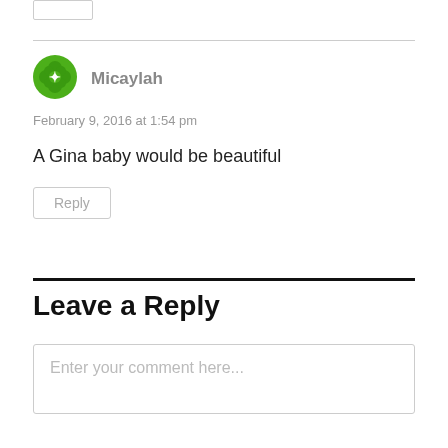[Figure (other): Small button/widget at top left]
Micaylah
February 9, 2016 at 1:54 pm
A Gina baby would be beautiful
Reply
Leave a Reply
Enter your comment here...